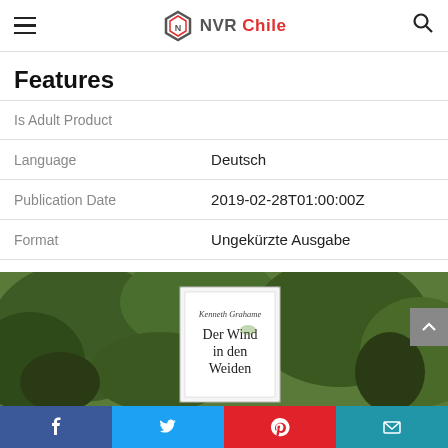NVR Chile
Features
| Is Adult Product |  |
| Language | Deutsch |
| Publication Date | 2019-02-28T01:00:00Z |
| Format | Ungekürzte Ausgabe |
[Figure (photo): Book cover of 'Der Wind in den Weiden' by Kenneth Grahame, shown against a leafy green background]
Facebook, Twitter, Pinterest, Email share buttons